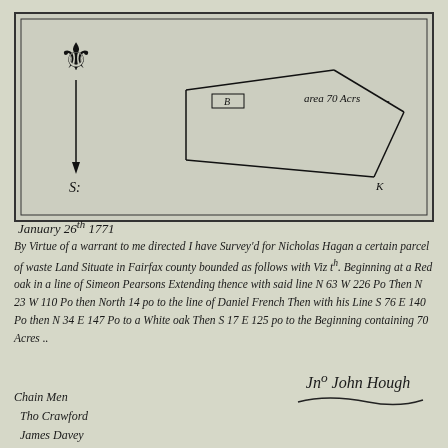[Figure (engineering-diagram): Hand-drawn land survey plat showing a roughly triangular parcel with a fleur-de-lis north indicator (compass rose) on the left, a vertical line going south labeled 'S:', a small rectangle labeled 'B' in the center, and text reading 'area 70 Acrs' with boundary lines forming an irregular quadrilateral. Enclosed in a double-line rectangular border.]
January 26th 1771
By Virtue of a warrant to me directed I have Survey'd for Nicholas Hagan a certain parcel of waste Land Situate in Fairfax county bounded as follows with Viz th. Beginning at a Red oak in a line of Simeon Pearsons Extending thence with said line N 63 W 226 Po Then N 23 W 110 Po then North 14 po to the line of Daniel French Then with his Line S 76 E 140 Po then N 34 E 147 Po to a White oak then S 17 E 125 po to the Beginning containing 70 Acres ...
Chain Men
  Tho Crawford
  James Davey
Jn. John Hough